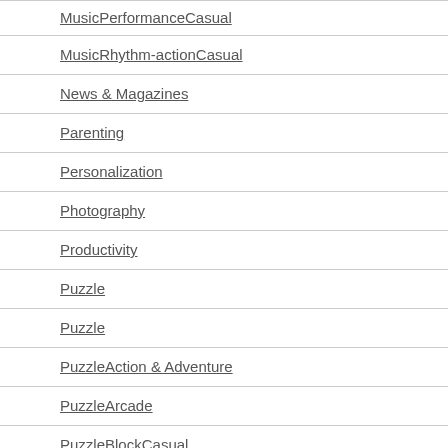MusicPerformanceCasual
MusicRhythm-actionCasual
News & Magazines
Parenting
Personalization
Photography
Productivity
Puzzle
Puzzle
PuzzleAction & Adventure
PuzzleArcade
PuzzleBlockCasual
PuzzleBrain Games